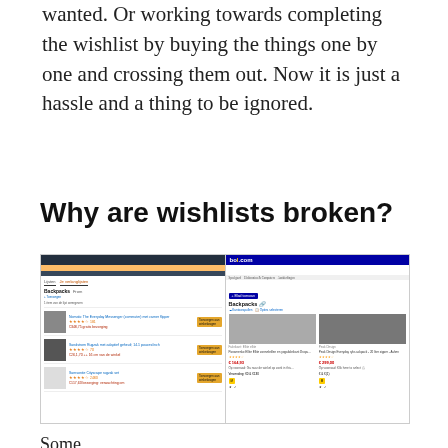wanted. Or working towards completing the wishlist by buying the things one by one and crossing them out. Now it is just a hassle and a thing to be ignored.
Why are wishlists broken?
[Figure (screenshot): Side-by-side screenshots of Amazon and Bol.com wishlist pages showing backpack product listings with images, ratings, prices, and add-to-cart buttons.]
Some text from wishlist comparison continues at bottom...